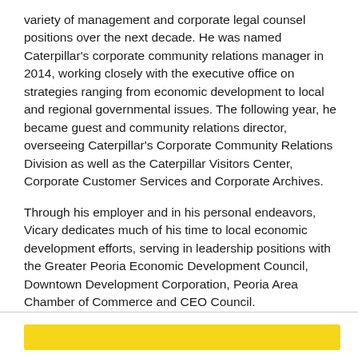variety of management and corporate legal counsel positions over the next decade. He was named Caterpillar's corporate community relations manager in 2014, working closely with the executive office on strategies ranging from economic development to local and regional governmental issues. The following year, he became guest and community relations director, overseeing Caterpillar's Corporate Community Relations Division as well as the Caterpillar Visitors Center, Corporate Customer Services and Corporate Archives.
Through his employer and in his personal endeavors, Vicary dedicates much of his time to local economic development efforts, serving in leadership positions with the Greater Peoria Economic Development Council, Downtown Development Corporation, Peoria Area Chamber of Commerce and CEO Council.
[Figure (other): Yellow/gold horizontal bar at bottom of page]